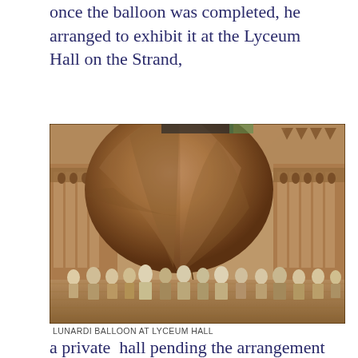once the balloon was completed, he arranged to exhibit it at the Lyceum Hall on the Strand,
[Figure (photo): Sepia-toned historical engraving showing the Lunardi Balloon displayed inside Lyceum Hall. A large striped spherical balloon dominates the upper portion of the image, hanging inside a grand hall with colonnaded galleries filled with spectators. Crowds of people in 18th-century dress stand on the hall floor beneath the balloon.]
LUNARDI BALLOON AT LYCEUM HALL
a private  hall pending the arrangement of a new lift-